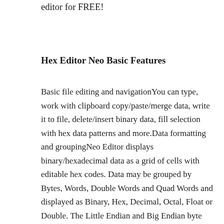editor for FREE!
Hex Editor Neo Basic Features
Basic file editing and navigationYou can type, work with clipboard copy/paste/merge data, write it to file, delete/insert binary data, fill selection with hex data patterns and more.Data formatting and groupingNeo Editor displays binary/hexadecimal data as a grid of cells with editable hex codes. Data may be grouped by Bytes, Words, Double Words and Quad Words and displayed as Binary, Hex, Decimal, Octal, Float or Double. The Little Endian and Big Endian byte order is also supported by our hex viewer.Instant search and replaceEditor allows you to find Binary/Hex data patterns. Searching for chars, ASCII